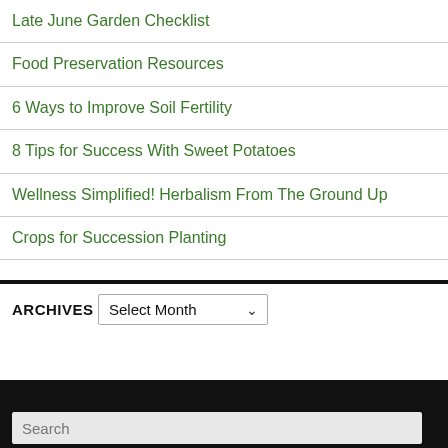Late June Garden Checklist
Food Preservation Resources
6 Ways to Improve Soil Fertility
8 Tips for Success With Sweet Potatoes
Wellness Simplified! Herbalism From The Ground Up
Crops for Succession Planting
ARCHIVES
Select Month
Search